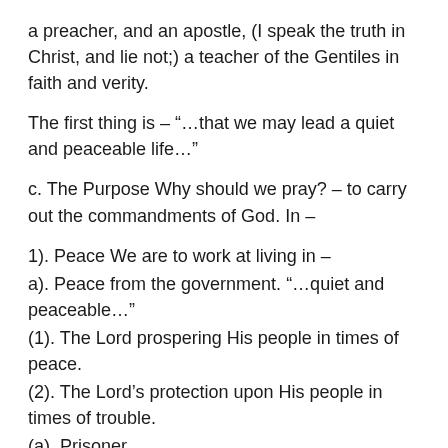a preacher, and an apostle, (I speak the truth in Christ, and lie not;) a teacher of the Gentiles in faith and verity.
The first thing is – “…that we may lead a quiet and peaceable life…”
c. The Purpose Why should we pray? – to carry out the commandments of God. In –
1). Peace We are to work at living in –
a). Peace from the government. “…quiet and peaceable…”
(1). The Lord prospering His people in times of peace.
(2). The Lord’s protection upon His people in times of trouble.
(a). Prisoner
(b). Preacher
(c). Prince